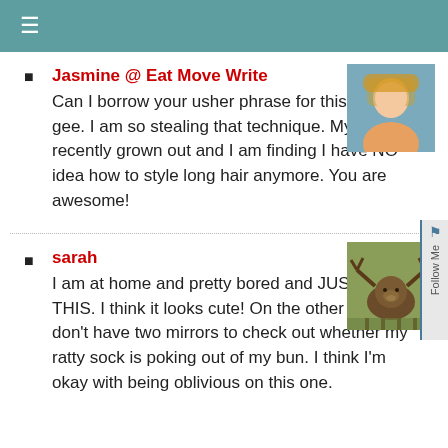≡
Jasmine @ Eat Move Write
Can I borrow your usher phrase for this? Oh em gee. I am so stealing that technique. My hair has recently grown out and I am finding I have NO idea how to style long hair anymore. You are awesome!
sarah
I am at home and pretty bored and JUST DID THIS. I think it looks cute! On the other hand, I don't have two mirrors to check out whether my ratty sock is poking out of my bun. I think I'm okay with being oblivious on this one.